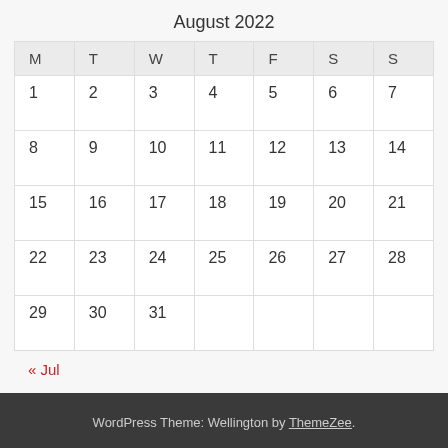August 2022
| M | T | W | T | F | S | S |
| --- | --- | --- | --- | --- | --- | --- |
| 1 | 2 | 3 | 4 | 5 | 6 | 7 |
| 8 | 9 | 10 | 11 | 12 | 13 | 14 |
| 15 | 16 | 17 | 18 | 19 | 20 | 21 |
| 22 | 23 | 24 | 25 | 26 | 27 | 28 |
| 29 | 30 | 31 |  |  |  |  |
« Jul
WordPress Theme: Wellington by ThemeZee.